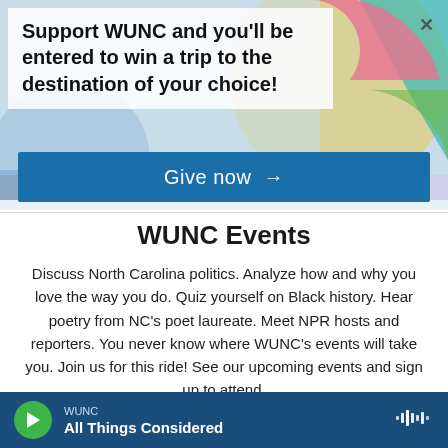[Figure (illustration): Colorful geometric circular shapes forming a decorative background in the banner area with pastel colors including blue, pink, green, orange, and teal.]
Support WUNC and you'll be entered to win a trip to the destination of your choice!
Give now →
WUNC Events
Discuss North Carolina politics. Analyze how and why you love the way you do. Quiz yourself on Black history. Hear poetry from NC's poet laureate. Meet NPR hosts and reporters. You never know where WUNC's events will take you. Join us for this ride! See our upcoming events and sign up to attend.
SEE OUR EVENTS
WUNC
All Things Considered